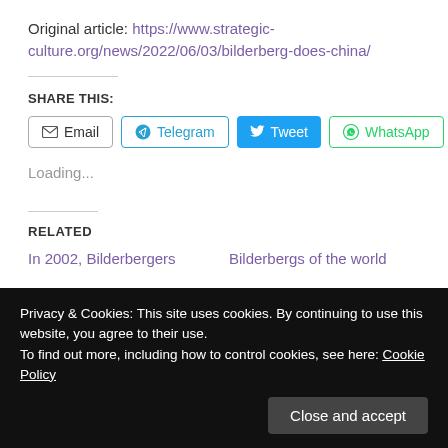Original article: https://www.strategic-culture.org/news/2022/06/03/bilderberg-does-china/
SHARE THIS:
Email  Telegram  Tweet  WhatsApp
Loading...
RELATED
In 2002, Bilderbergers
Bilderbergs of the world
Privacy & Cookies: This site uses cookies. By continuing to use this website, you agree to their use.
To find out more, including how to control cookies, see here: Cookie Policy
Close and accept